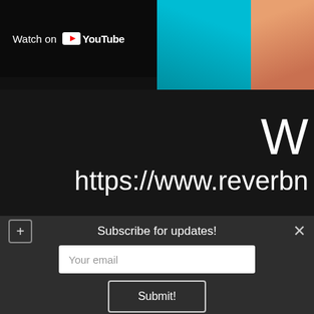[Figure (screenshot): YouTube embedded video thumbnail with 'Watch on YouTube' overlay button and colorful background image on the right side]
W
https://www.reverbn
Subscribe for updates!
Your email
Submit!